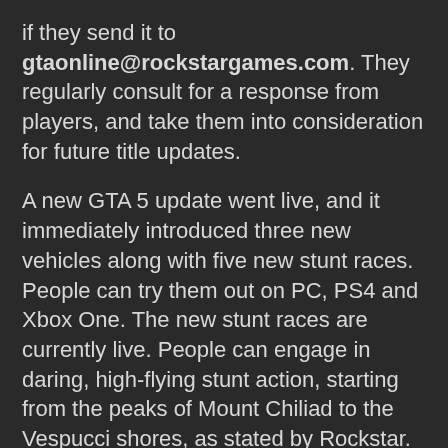if they send it to gtaonline@rockstargames.com. They regularly consult for a response from players, and take them into consideration for future title updates.
A new GTA 5 update went live, and it immediately introduced three new vehicles along with five new stunt races. People can try them out on PC, PS4 and Xbox One. The new stunt races are currently live. People can engage in daring, high-flying stunt action, starting from the peaks of Mount Chiliad to the Vespucci shores, as stated by Rockstar.
Players can collect the three new vehicles along with a new premium race, which is in rotation for all users. These include the Vapid Contender, the Bravado Sprunk Buffalo, and the MTL Dune. They are quite large vehicles and should add some serious beef for players who prefer throwing around their